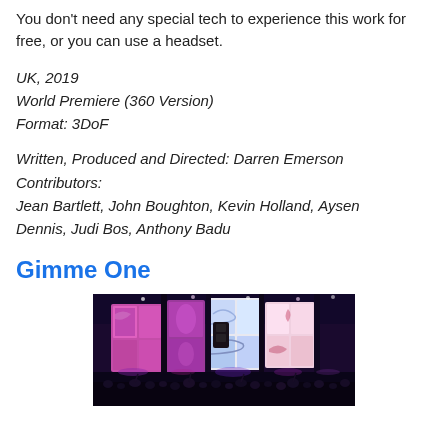You don't need any special tech to experience this work for free, or you can use a headset.
UK, 2019
World Premiere (360 Version)
Format: 3DoF
Written, Produced and Directed: Darren Emerson
Contributors:
Jean Bartlett, John Boughton, Kevin Holland, Aysen Dennis, Judi Bos, Anthony Badu
Gimme One
[Figure (photo): A concert venue with large illuminated screens showing colorful graphics, crowd in foreground, stage lighting.]